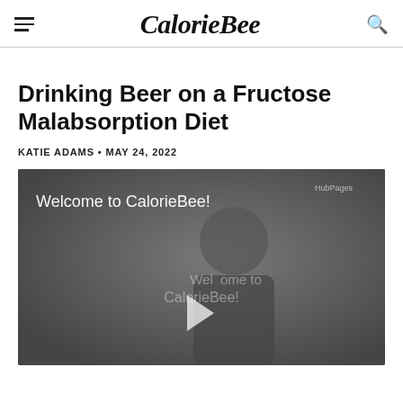CalorieBee
Drinking Beer on a Fructose Malabsorption Diet
KATIE ADAMS • MAY 24, 2022
[Figure (screenshot): Video player showing a man standing with text 'Welcome to CalorieBee!' overlaid, with a play button in the center and HubPages watermark in the top right corner.]